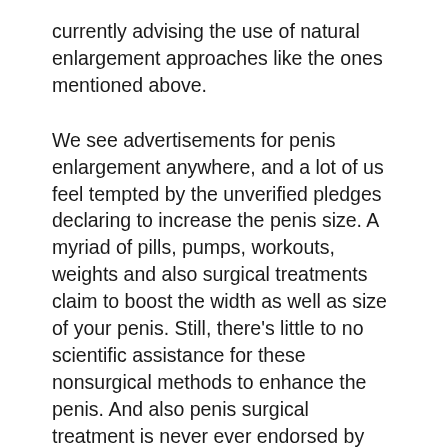currently advising the use of natural enlargement approaches like the ones mentioned above.
We see advertisements for penis enlargement anywhere, and a lot of us feel tempted by the unverified pledges declaring to increase the penis size. A myriad of pills, pumps, workouts, weights and also surgical treatments claim to boost the width as well as size of your penis. Still, there’s little to no scientific assistance for these nonsurgical methods to enhance the penis. And also penis surgical treatment is never ever endorsed by any kind of trustworthy medical organization for totally aesthetic reasons. Several tablets and approaches you see advertised are useless as well as sometimes